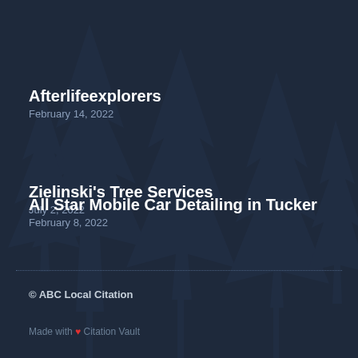Afterlifeexplorers
February 14, 2022
Zielinski's Tree Services
July 2, 2022
All Star Mobile Car Detailing in Tucker
February 8, 2022
© ABC Local Citation
Made with ❤ Citation Vault